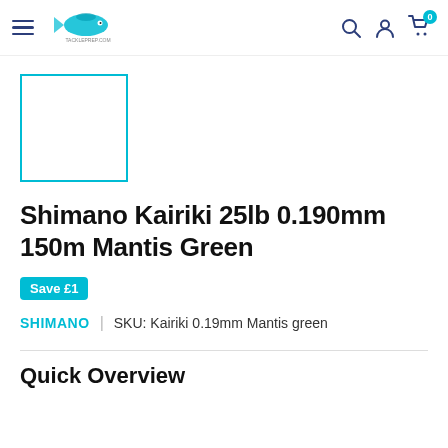Navigation header with hamburger menu, logo, search, account and cart icons
[Figure (other): Product image placeholder — square with teal border, empty white interior]
Shimano Kairiki 25lb 0.190mm 150m Mantis Green
Save £1
SHIMANO | SKU: Kairiki 0.19mm Mantis green
Quick Overview